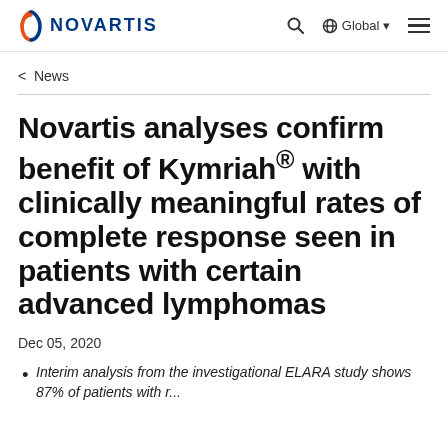NOVARTIS | Search | Global | Menu
< News
Novartis analyses confirm benefit of Kymriah® with clinically meaningful rates of complete response seen in patients with certain advanced lymphomas
Dec 05, 2020
Interim analysis from the investigational ELARA study shows 87% of patients with r...